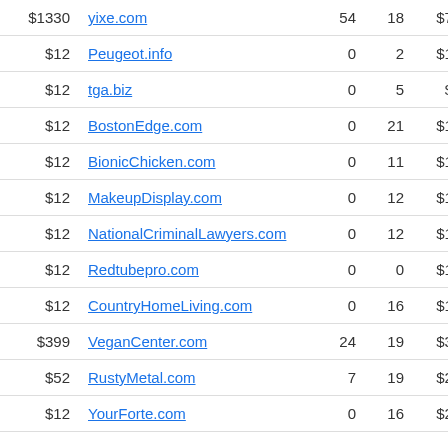| Price | Domain | Col3 | Col4 | Value | Icon |
| --- | --- | --- | --- | --- | --- |
| $1330 | yixe.com | 54 | 18 | $7244 | icon |
| $12 | Peugeot.info | 0 | 2 | $1461 | icon |
| $12 | tga.biz | 0 | 5 | $831 | icon |
| $12 | BostonEdge.com | 0 | 21 | $1395 | icon |
| $12 | BionicChicken.com | 0 | 11 | $1235 |  |
| $12 | MakeupDisplay.com | 0 | 12 | $1312 | icon |
| $12 | NationalCriminalLawyers.com | 0 | 12 | $1230 | icon |
| $12 | Redtubepro.com | 0 | 0 | $1250 |  |
| $12 | CountryHomeLiving.com | 0 | 16 | $1596 | icon |
| $399 | VeganCenter.com | 24 | 19 | $3018 |  |
| $52 | RustyMetal.com | 7 | 19 | $2818 | icon |
| $12 | YourForte.com | 0 | 16 | $2516 |  |